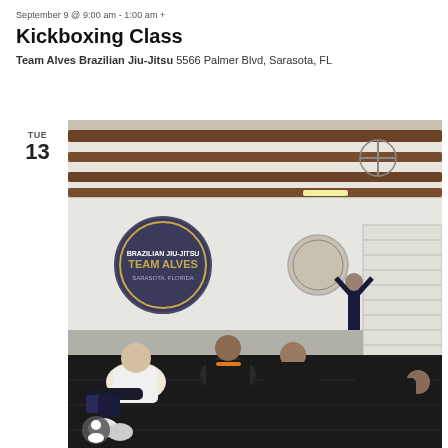September 9 @ 9:00 am - 1:00 am +
Kickboxing Class
Team Alves Brazilian Jiu-Jitsu 5566 Palmer Blvd, Sarasota, FL
TUE
13
[Figure (photo): Group of martial arts students sitting and posing on black gym mats inside Team Alves Brazilian Jiu-Jitsu gym in Sarasota, FL. The walls show two Team Alves logos. One person stands in the background with arms raised, while others sit on the floor flexing or relaxing after class.]